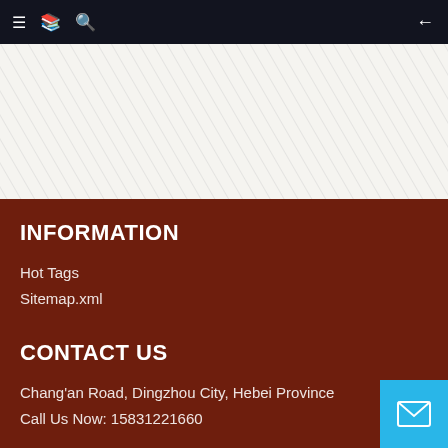Navigation bar with menu, book, search icons and back arrow
[Figure (illustration): Diagonal hatching pattern background in light gray/white]
INFORMATION
Hot Tags
Sitemap.xml
CONTACT US
Chang'an Road, Dingzhou City, Hebei Province
Call Us Now: 15831221660
[Figure (illustration): Blue email button with envelope icon in bottom right corner]